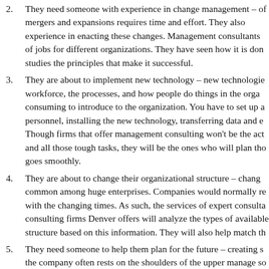2. They need someone with experience in change management – of mergers and expansions requires time and effort. They also experience in enacting these changes. Management consultants of jobs for different organizations. They have seen how it is don studies the principles that make it successful.
3. They are about to implement new technology – new technologie workforce, the processes, and how people do things in the orga consuming to introduce to the organization. You have to set up a personnel, installing the new technology, transferring data and e Though firms that offer management consulting won't be the act and all those tough tasks, they will be the ones who will plan tho goes smoothly.
4. They are about to change their organizational structure – chang common among huge enterprises. Companies would normally re with the changing times. As such, the services of expert consulta consulting firms Denver offers will analyze the types of available structure based on this information. They will also help match th
5. They need someone to help them plan for the future – creating s the company often rests on the shoulders of the upper manage so they bring in experts in strategic planning. This is where the c assistance in building future plans for the company.